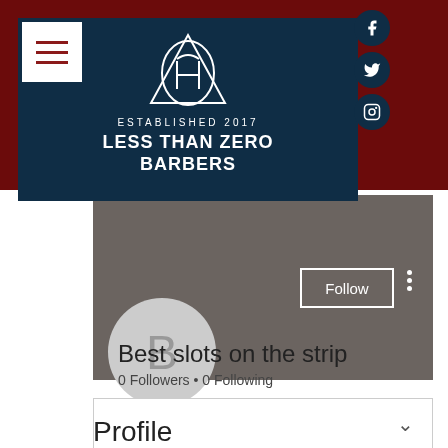[Figure (screenshot): Less Than Zero Barbers navigation header card with logo (triangle/circle geometric design), ESTABLISHED 2017, brand name, hamburger menu, and social media icons (Facebook, Twitter, Instagram) on dark navy background]
Best slots on the strip
0 Followers • 0 Following
Profile